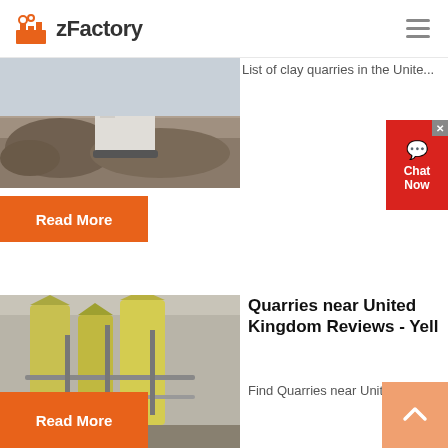zFactory
[Figure (photo): Quarry site with machinery and rock/gravel piles, partially visible at top of page]
List of clay quarries in the Unite...
Read More
[Figure (photo): Industrial factory interior with large yellow silos and piping equipment]
Quarries near United Kingdom Reviews - Yell
Find Quarries near United Kingd...
Read More